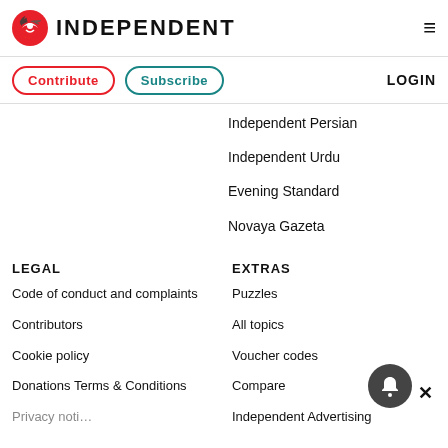INDEPENDENT
Contribute
Subscribe
LOGIN
Independent Persian
Independent Urdu
Evening Standard
Novaya Gazeta
LEGAL
Code of conduct and complaints
Contributors
Cookie policy
Donations Terms & Conditions
EXTRAS
Puzzles
All topics
Voucher codes
Compare
Independent Advertising